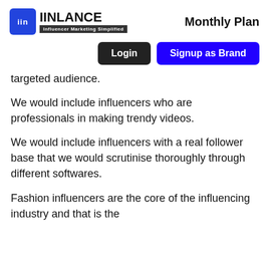IINLANCE Influencer Marketing Simplified | Monthly Plan
Login
Signup as Brand
targeted audience.
We would include influencers who are professionals in making trendy videos.
We would include influencers with a real follower base that we would scrutinise thoroughly through different softwares.
Fashion influencers are the core of the influencing industry and that is the